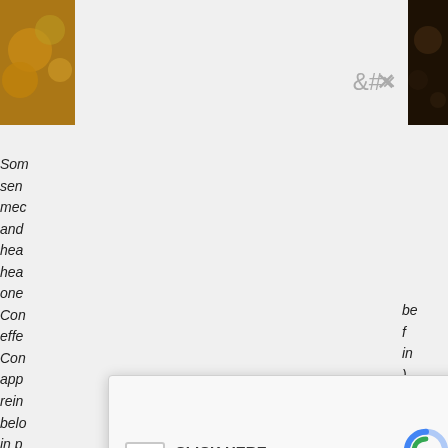[Figure (screenshot): Screenshot of a webpage partially obscured by a reCAPTCHA modal dialog. Background shows two images at top corners (golden/brown textures) and italic body text in left and right columns. A close button (×) appears near top right of modal. The modal contains a checkbox, 'CLICK HERE' text, 'I'm not a robot' text, and the reCAPTCHA logo with Privacy and Terms links.]
Som
sen
mec
and
hea
hea
one
Con
eff e
Con
app
rein
belo
in p
Bec
inse
bed
exc
[3] A
and
redu
be
f
in
)
.
t is
s of
n
g.
l,
n